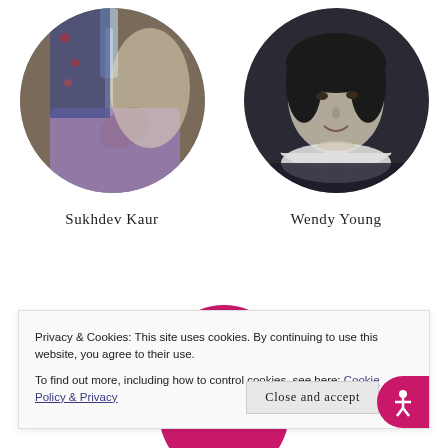[Figure (photo): Circular photo of person washing hands or ironing, colorful fabric visible]
Sukhdev Kaur
[Figure (photo): Circular black and white portrait photo of a woman, Wendy Young]
Wendy Young
[Figure (illustration): Pink circle partially visible, decorative element]
Privacy & Cookies: This site uses cookies. By continuing to use this website, you agree to their use.
To find out more, including how to control cookies, see here: Cookie Policy & Privacy
Close and accept